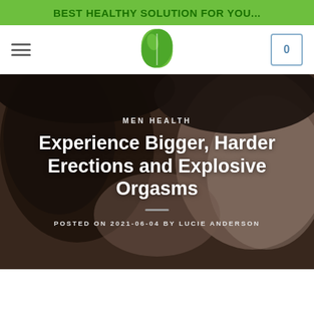BEST HEALTHY SOLUTION FOR YOU...
[Figure (logo): Green leaf logo icon in navigation bar]
Experience Bigger, Harder Erections and Explosive Orgasms
MEN HEALTH
POSTED ON 2021-06-04 BY LUCIE ANDERSON